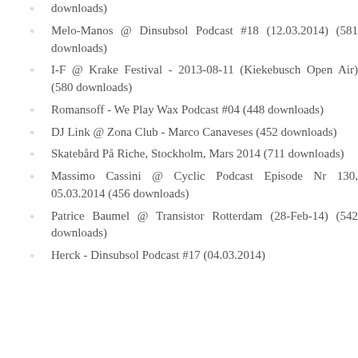downloads)
Melo-Manos @ Dinsubsol Podcast #18 (12.03.2014) (581 downloads)
I-F @ Krake Festival - 2013-08-11 (Kiekebusch Open Air) (580 downloads)
Romansoff - We Play Wax Podcast #04 (448 downloads)
DJ Link @ Zona Club - Marco Canaveses (452 downloads)
Skatebård På Riche, Stockholm, Mars 2014 (711 downloads)
Massimo Cassini @ Cyclic Podcast Episode Nr 130, 05.03.2014 (456 downloads)
Patrice Baumel @ Transistor Rotterdam (28-Feb-14) (542 downloads)
Herck - Dinsubsol Podcast #17 (04.03.2014)